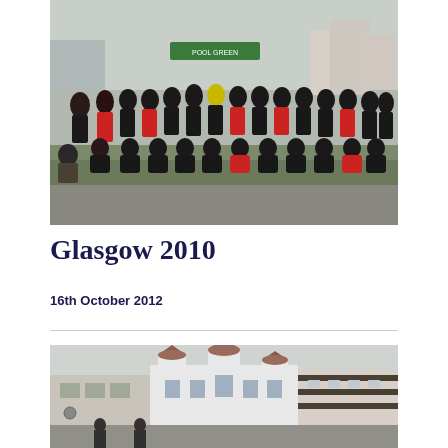[Figure (photo): Group photo of school students and teachers in black and red sports uniforms standing outside near a seafront or sports area. A banner in the background reads something in green. Overcast day.]
Glasgow 2010
16th October 2012
[Figure (photo): Exterior photo of a white building complex with distinctive towers/turrets with dark domed tops, possibly a leisure centre or historic seafront building. Overcast sky.]